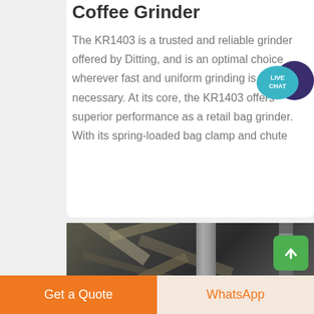Coffee Grinder
The KR1403 is a trusted and reliable grinder offered by Ditting, and is an optimal choice wherever fast and uniform grinding is necessary. At its core, the KR1403 offers superior performance as a retail bag grinder. With its spring-loaded bag clamp and chute
[Figure (photo): Industrial machinery photo showing conveyor belts, structural beams, pillars, and ladders in a heavy industrial facility]
Get a Quote
WhatsApp